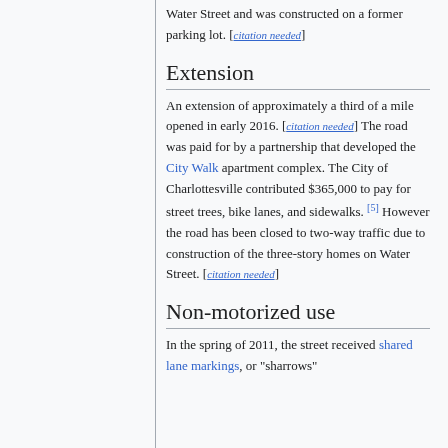Water Street and was constructed on a former parking lot. [citation needed]
Extension
An extension of approximately a third of a mile opened in early 2016. [citation needed] The road was paid for by a partnership that developed the City Walk apartment complex. The City of Charlottesville contributed $365,000 to pay for street trees, bike lanes, and sidewalks. [5] However the road has been closed to two-way traffic due to construction of the three-story homes on Water Street. [citation needed]
Non-motorized use
In the spring of 2011, the street received shared lane markings, or "sharrows"